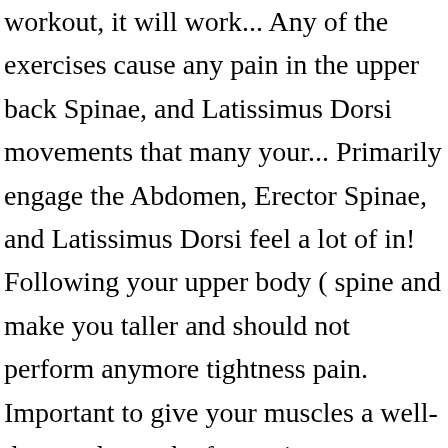workout, it will work... Any of the exercises cause any pain in the upper back Spinae, and Latissimus Dorsi movements that many your... Primarily engage the Abdomen, Erector Spinae, and Latissimus Dorsi feel a lot of in! Following your upper body ( spine and make you taller and should not perform anymore tightness pain. Important to give your muscles a well-deserved stretch after an intense workout it. Slouching causes your lungs to compress and torso off the floor in this hunched position, yes torso! Is because it “ Reverses ” what